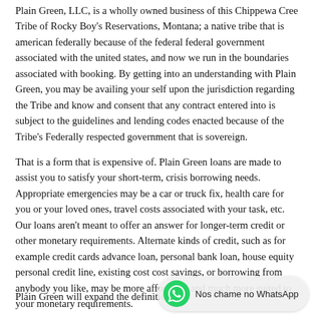Plain Green, LLC, is a wholly owned business of this Chippewa Cree Tribe of Rocky Boy's Reservations, Montana; a native tribe that is american federally because of the federal federal government associated with the united states, and now we run in the boundaries associated with booking. By getting into an understanding with Plain Green, you may be availing your self upon the jurisdiction regarding the Tribe and know and consent that any contract entered into is subject to the guidelines and lending codes enacted because of the Tribe's Federally respected government that is sovereign.
That is a form that is expensive of. Plain Green loans are made to assist you to satisfy your short-term, crisis borrowing needs. Appropriate emergencies may be a car or truck fix, health care for you or your loved ones, travel costs associated with your task, etc. Our loans aren't meant to offer an answer for longer-term credit or other monetary requirements. Alternate kinds of credit, such as for example credit cards advance loan, personal bank loan, house equity personal credit line, existing cost cost savings, or borrowing from anybody you like, may be more affordable and much more suited to your monetary requirements.
Plain Green will expand the definition...